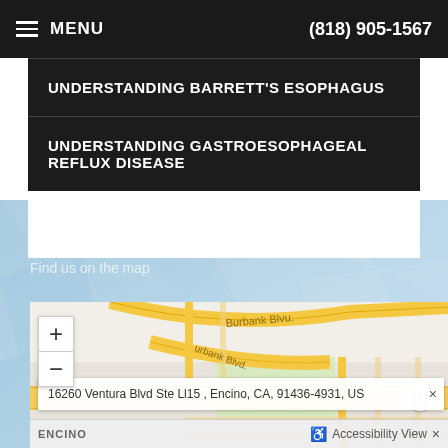MENU | (818) 905-1567
UNDERSTANDING BARRETT'S ESOPHAGUS
UNDERSTANDING GASTROESOPHAGEAL REFLUX DISEASE
Our Location
Find us on the map
[Figure (map): Street map showing Burbank Blvd and Highway 101 intersection near Encino, CA with zoom controls]
16260 Ventura Blvd Ste Ll15 , Encino, CA, 91436-4931, US
ENCINO
Accessibility View